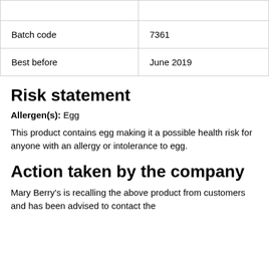|  |  |
| Batch code | 7361 |
| Best before | June 2019 |
Risk statement
Allergen(s): Egg
This product contains egg making it a possible health risk for anyone with an allergy or intolerance to egg.
Action taken by the company
Mary Berry's is recalling the above product from customers and has been advised to contact the